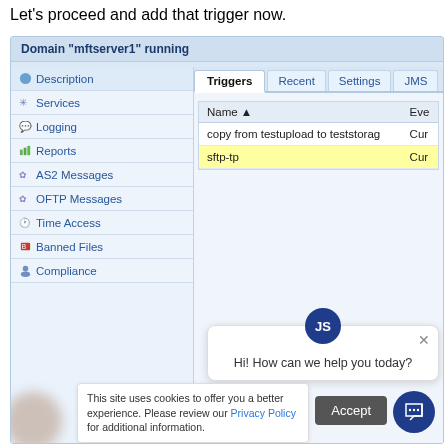Let's proceed and add that trigger now.
[Figure (screenshot): A software UI screenshot showing a server management interface for 'Domain mftserver1 running'. Left navigation panel contains menu items: Description, Services, Logging, Reports, AS2 Messages, OFTP Messages, Time Access, Banned Files, Compliance. Right panel shows tabs: Triggers (active), Recent, Settings, JMS. A table is visible with columns Name and Eve(nt), with rows: 'copy from testupload to teststorage' and 'sftp-tp' (highlighted in yellow). A chat popup reads 'Hi! How can we help you today?' with a close button. A cookie consent banner reads 'This site uses cookies to offer you a better experience. Please review our Privacy Policy for additional information.' with an Accept button.]